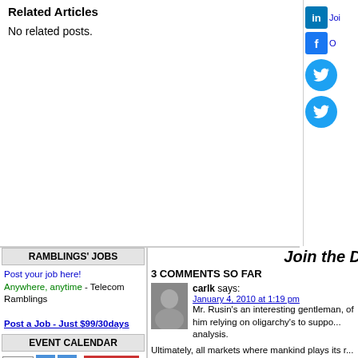Related Articles
No related posts.
RAMBLINGS' JOBS
Post your job here! Anywhere, anytime - Telecom Ramblings
Post a Job - Just $99/30days
EVENT CALENDAR
Today | < | > | Loading...
Join the D
3 COMMENTS SO FAR
carlk says: January 4, 2010 at 1:19 pm Mr. Rusin's an interesting gentleman, of him relying on oligarchy's to support analysis.
Ultimately, all markets where mankind plays its r... price adjustments that reflect all tiers of participa...
Jim Crowe and his crew were never playing for s... than 50 percent share amount relative to the inves... upon!
Jim has said routinely and historically, "We're sh...
I don't think Jim is intent on sharing his market s... along with sub par players, many whom continue...